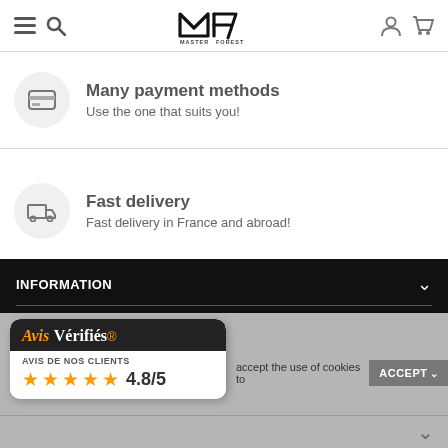Master Forest — navigation header with menu, search, logo, account, cart icons
Many payment methods
Use the one that suits you!
Fast delivery
Fast delivery in France and abroad!
INFORMATION
Avis Vérifiés — AVIS DE NOS CLIENTS ★★★★★ 4.8/5
accept the use of cookies to
ACCEPT